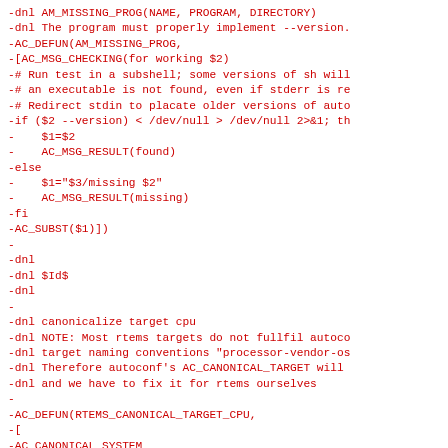-dnl AM_MISSING_PROG(NAME, PROGRAM, DIRECTORY)
-dnl The program must properly implement --version.
-AC_DEFUN(AM_MISSING_PROG,
-[AC_MSG_CHECKING(for working $2)
-# Run test in a subshell; some versions of sh will
-# an executable is not found, even if stderr is re
-# Redirect stdin to placate older versions of auto
-if ($2 --version) < /dev/null > /dev/null 2>&1; th
-    $1=$2
-    AC_MSG_RESULT(found)
-else
-    $1="$3/missing $2"
-    AC_MSG_RESULT(missing)
-fi
-AC_SUBST($1)])
-
-dnl
-dnl $Id$
-dnl
-
-dnl canonicalize target cpu
-dnl NOTE: Most rtems targets do not fullfil autoco
-dnl target naming conventions "processor-vendor-os
-dnl Therefore autoconf's AC_CANONICAL_TARGET will
-dnl and we have to fix it for rtems ourselves
-
-AC_DEFUN(RTEMS_CANONICAL_TARGET_CPU,
-[
-AC_CANONICAL_SYSTEM
-AC_MSG_CHECKING(rtems target cpu)